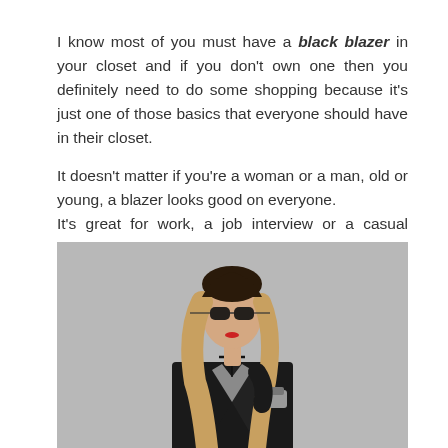I know most of you must have a black blazer in your closet and if you don't own one then you definitely need to do some shopping because it's just one of those basics that everyone should have in their closet.

It doesn't matter if you're a woman or a man, old or young, a blazer looks good on everyone.
It's great for work, a job interview or a casual business look like mine.
[Figure (photo): A woman with blonde ombre hair wearing sunglasses, a black blazer over a grey top, and a choker necklace, posed against a grey background.]